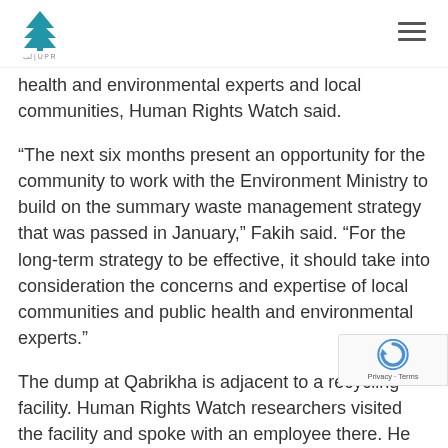LIUPR logo and navigation menu
health and environmental experts and local communities, Human Rights Watch said.
“The next six months present an opportunity for the community to work with the Environment Ministry to build on the summary waste management strategy that was passed in January,” Fakih said. “For the long-term strategy to be effective, it should take into consideration the concerns and expertise of local communities and public health and environmental experts.”
The dump at Qabrikha is adjacent to a recycling facility. Human Rights Watch researchers visited the facility and spoke with an employee there. He said waste that was